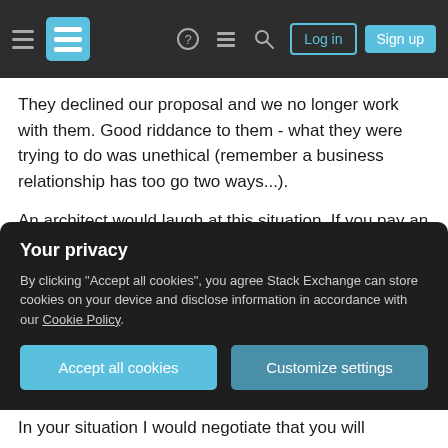Stack Exchange navigation bar with Log in and Sign up buttons
They declined our proposal and we no longer work with them. Good riddance to them - what they were trying to do was unethical (remember a business relationship has too go two ways...).
An architect would laugh at this situation. If you pay an architect to design a home you may receive the plans in your hand - but you do not own the IP. You can not then choose to go off and build 300 of those homes. You can build one home on the site as nominated in the building contract and on the plans.
Your privacy
By clicking "Accept all cookies", you agree Stack Exchange can store cookies on your device and disclose information in accordance with our Cookie Policy.
Accept all cookies   Customize settings
In your situation I would negotiate that you will